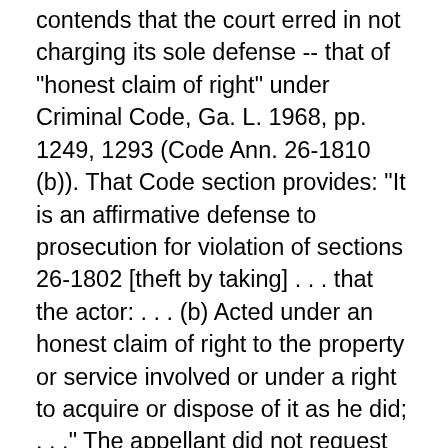contends that the court erred in not charging its sole defense -- that of "honest claim of right" under Criminal Code, Ga. L. 1968, pp. 1249, 1293 (Code Ann. 26-1810 (b)). That Code section provides: "It is an affirmative defense to prosecution for violation of sections 26-1802 [theft by taking] . . . that the actor: . . . (b) Acted under an honest claim of right to the property or service involved or under a right to acquire or dispose of it as he did; . . ." The appellant did not request such a charge. His testimony at the trial with reference to the gasoline was that he did not know that it was stolen and that he was acting only as an intermediary helping to sell